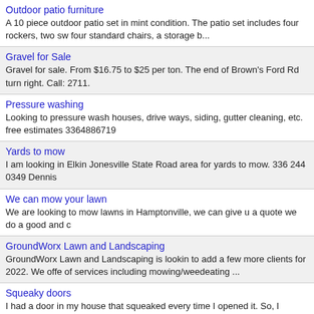Outdoor patio furniture
A 10 piece outdoor patio set in mint condition. The patio set includes four rockers, two sw four standard chairs, a storage b...
Gravel for Sale
Gravel for sale. From $16.75 to $25 per ton. The end of Brown's Ford Rd turn right. Call: 2711.
Pressure washing
Looking to pressure wash houses, drive ways, siding, gutter cleaning, etc. free estimates 3364886719
Yards to mow
I am looking in Elkin Jonesville State Road area for yards to mow. 336 244 0349 Dennis
We can mow your lawn
We are looking to mow lawns in Hamptonville, we can give u a quote we do a good and c
GroundWorx Lawn and Landscaping
GroundWorx Lawn and Landscaping is lookin to add a few more clients for 2022. We offe of services including mowing/weedeating ...
Squeaky doors
I had a door in my house that squeaked every time I opened it. So, I thought I'd spray it w WD-40, since that fixes everything, r...